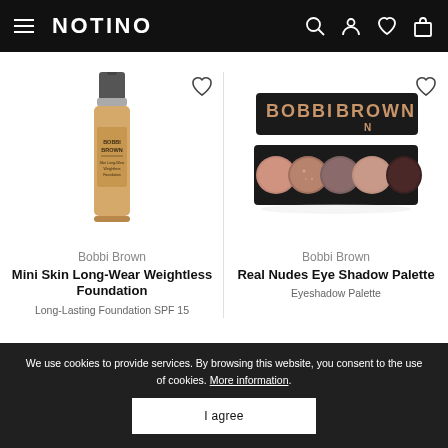NOTINO
[Figure (photo): Bobbi Brown Mini Skin Long-Wear Weightless Foundation bottle product photo]
Bobbi Brown
Mini Skin Long-Wear Weightless Foundation
Long-Lasting Foundation SPF 15
[Figure (photo): Bobbi Brown Real Nudes Eye Shadow Palette product photo showing open palette with 5 eyeshadow shades]
Bobbi Brown
Real Nudes Eye Shadow Palette
Eyeshadow Palette
We use cookies to provide services. By browsing this website, you consent to the use of cookies. More information.
I agree